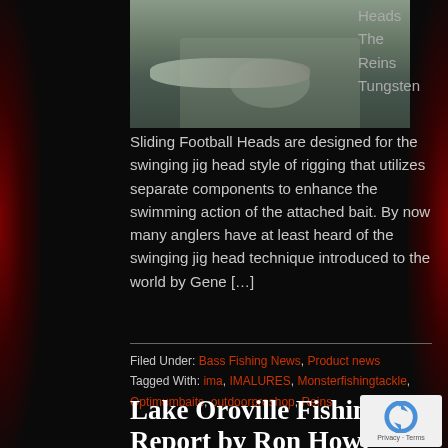[Figure (photo): Person holding a large fish outdoors near a body of water, wearing a grey jacket]
Heads The Reins Tungsten
Sliding Football Heads are designed for the swinging jig head style of rigging that utilizes separate components to enhance the swimming action of the attached bait. By now many anglers have at least heard of the swinging jig head technique introduced to the world by Gene […]
Filed Under: Bass Fishing News, Product news
Tagged With: ima, IMALURES, Monsterfishingtackle, Optimumbaits, outdoorproshop, Reins
Lake Oroville Fishing Report by Ron Howe